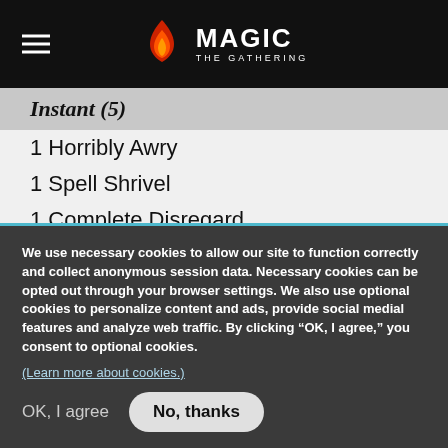Magic: The Gathering
Instant (5)
1 Horribly Awry
1 Spell Shrivel
1 Complete Disregard
2 Grip of Desolation
Artifact (1)
1 Hedron Archive
Enchantment (1)
We use necessary cookies to allow our site to function correctly and collect anonymous session data. Necessary cookies can be opted out through your browser settings. We also use optional cookies to personalize content and ads, provide social medial features and analyze web traffic. By clicking “OK, I agree,” you consent to optional cookies. (Learn more about cookies.)
OK, I agree    No, thanks